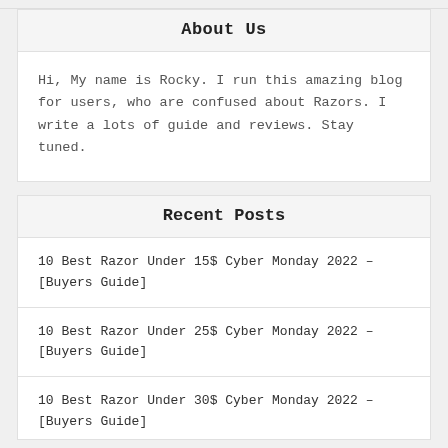About Us
Hi, My name is Rocky. I run this amazing blog for users, who are confused about Razors. I write a lots of guide and reviews. Stay tuned.
Recent Posts
10 Best Razor Under 15$ Cyber Monday 2022 – [Buyers Guide]
10 Best Razor Under 25$ Cyber Monday 2022 – [Buyers Guide]
10 Best Razor Under 30$ Cyber Monday 2022 – [Buyers Guide]